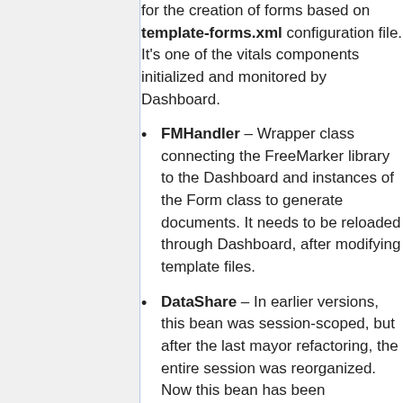for the creation of forms based on template-forms.xml configuration file. It's one of the vitals components initialized and monitored by Dashboard.
FMHandler – Wrapper class connecting the FreeMarker library to the Dashboard and instances of the Form class to generate documents. It needs to be reloaded through Dashboard, after modifying template files.
DataShare – In earlier versions, this bean was session-scoped, but after the last mayor refactoring, the entire session was reorganized. Now this bean has been incorporated into a session-scoped SessionController bean that also caches all forms opened by the user. Still, the purpose